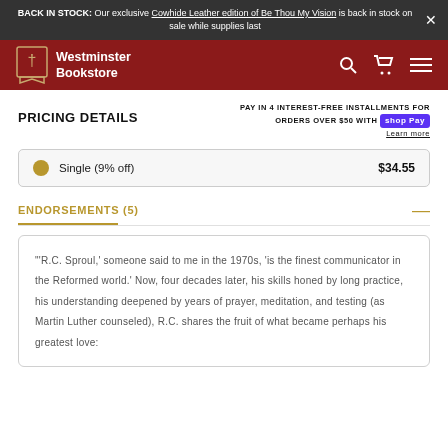BACK IN STOCK: Our exclusive Cowhide Leather edition of Be Thou My Vision is back in stock on sale while supplies last
[Figure (logo): Westminster Bookstore navigation bar with logo, search, cart, and menu icons]
PRICING DETAILS
PAY IN 4 INTEREST-FREE INSTALLMENTS FOR ORDERS OVER $50 WITH Shop Pay Learn more
Single (9% off)   $34.55
ENDORSEMENTS (5)
"'R.C. Sproul,' someone said to me in the 1970s, 'is the finest communicator in the Reformed world.' Now, four decades later, his skills honed by long practice, his understanding deepened by years of prayer, meditation, and testing (as Martin Luther counseled), R.C. shares the fruit of what became perhaps his greatest love: